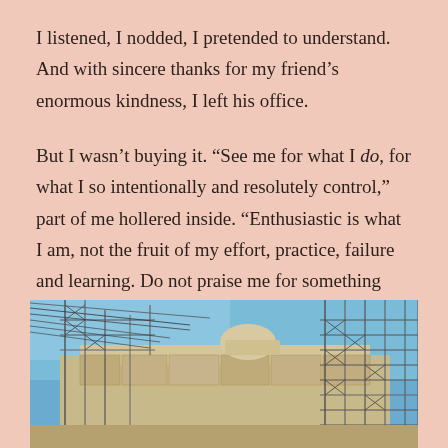I listened, I nodded, I pretended to understand. And with sincere thanks for my friend's enormous kindness, I left his office.
But I wasn't buying it. "See me for what I do, for what I so intentionally and resolutely control," part of me hollered inside. "Enthusiastic is what I am, not the fruit of my effort, practice, failure and learning. Do not praise me for something that is already inside me, something that's so natural — and so easy."
[Figure (photo): Photograph of ancient stone ruins or monument (possibly the Acropolis/Parthenon) with scaffolding and metal framework surrounding it, taken from below against a blue sky.]